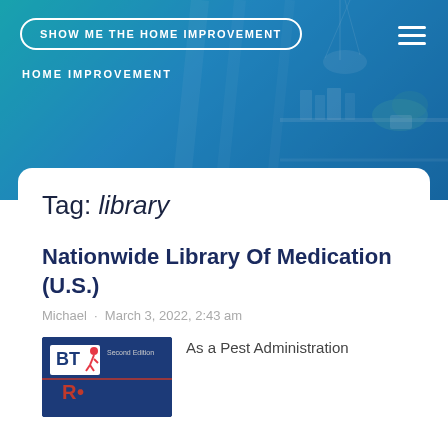SHOW ME THE HOME IMPROVEMENT
HOME IMPROVEMENT
Tag: library
Nationwide Library Of Medication (U.S.)
Michael · March 3, 2022, 2:43 am
[Figure (photo): Book cover thumbnail showing BT logo and Second Edition label with red text below]
As a Pest Administration